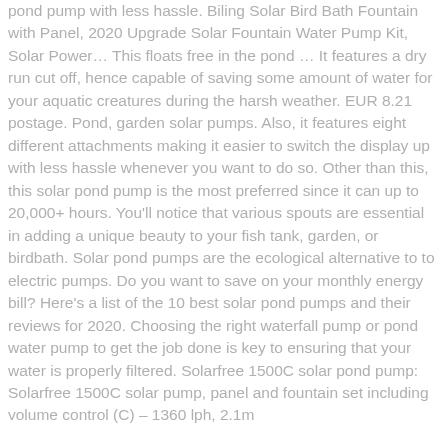pond pump with less hassle. Biling Solar Bird Bath Fountain with Panel, 2020 Upgrade Solar Fountain Water Pump Kit, Solar Power… This floats free in the pond … It features a dry run cut off, hence capable of saving some amount of water for your aquatic creatures during the harsh weather. EUR 8.21 postage. Pond, garden solar pumps. Also, it features eight different attachments making it easier to switch the display up with less hassle whenever you want to do so. Other than this, this solar pond pump is the most preferred since it can up to 20,000+ hours. You'll notice that various spouts are essential in adding a unique beauty to your fish tank, garden, or birdbath. Solar pond pumps are the ecological alternative to to electric pumps. Do you want to save on your monthly energy bill? Here's a list of the 10 best solar pond pumps and their reviews for 2020. Choosing the right waterfall pump or pond water pump to get the job done is key to ensuring that your water is properly filtered. Solarfree 1500C solar pond pump: Solarfree 1500C solar pump, panel and fountain set including volume control (C) – 1360 lph, 2.1m